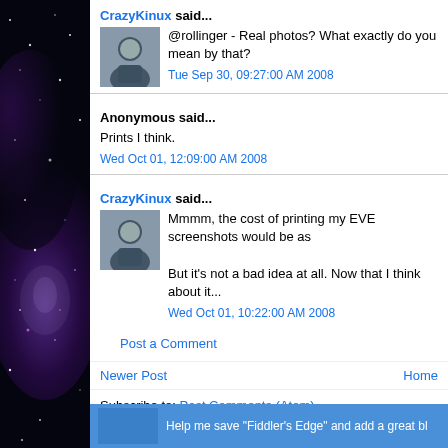[Figure (other): Space/galaxy background sidebar image with purple and blue nebula and stars]
CrazyKinux said...
@rollinger - Real photos? What exactly do you mean by that?
Tue Sep 30, 09:27:00 AM 2008
Anonymous said...
Prints I think.
Wed Oct 01, 12:09:00 AM 2008
CrazyKinux said...
Mmmm, the cost of printing my EVE screenshots would be as
But it's not a bad idea at all. Now that I think about it...
Wed Oct 01, 10:22:00 AM 2008
Post a Comment
Newer Post
Home
Subscribe to: Post Comments (Atom)
Help me save "Fiddler's Edge" and add a great bl